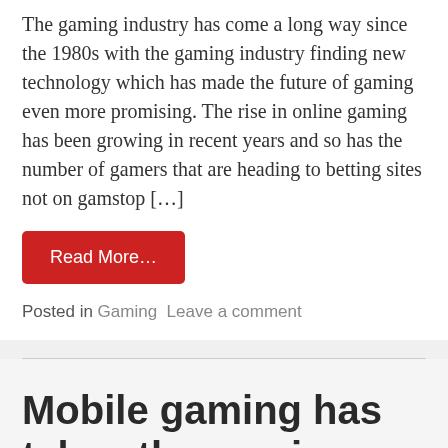The gaming industry has come a long way since the 1980s with the gaming industry finding new technology which has made the future of gaming even more promising. The rise in online gaming has been growing in recent years and so has the number of gamers that are heading to betting sites not on gamstop […]
Read More…
Posted in Gaming  Leave a comment
Mobile gaming has taken the gaming world by storm